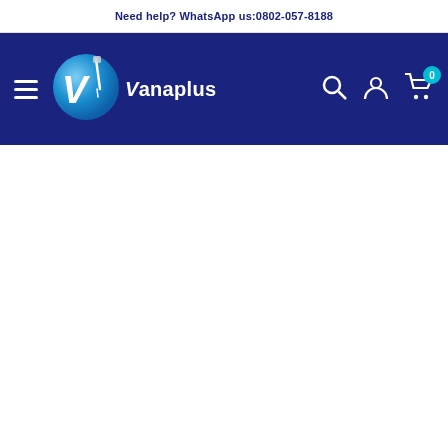Need help? WhatsApp us:0802-057-8188
[Figure (logo): Vanaplus e-commerce website navigation bar with hamburger menu, Vanaplus logo (blue circle with V and needle/syringe, white text 'Vanaplus'), search icon, user account icon, and shopping cart with badge showing 0 items on dark blue background]